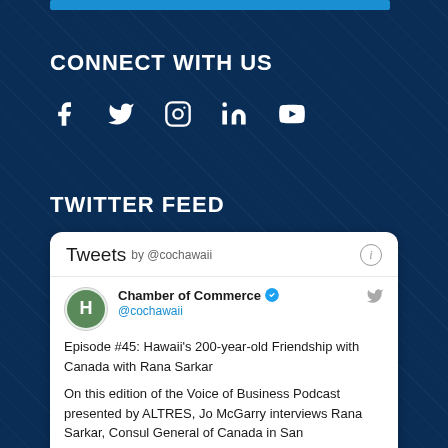CONNECT WITH US
[Figure (illustration): Social media icons: Facebook, Twitter, Instagram, LinkedIn, YouTube in white on dark blue background]
TWITTER FEED
Tweets by @cochawaii
Chamber of Commerce @cochawaii
Episode #45: Hawaii's 200-year-old Friendship with Canada with Rana Sarkar

On this edition of the Voice of Business Podcast presented by ALTRES, Jo McGarry interviews Rana Sarkar, Consul General of Canada in San
Embed   View on Twitter